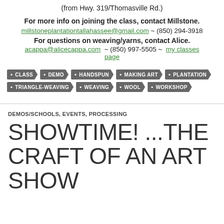(from Hwy. 319/Thomasville Rd.)
For more info on joining the class, contact Millstone.
millstoneplantationtallahassee@gmail.com ~ (850) 294-3918
For questions on weaving/yarns, contact Alice.
acappa@alicecappa.com  ~ (850) 997-5505 ~  my classes page
CLASS
DEMO
HANDSPUN
MAKING ART
PLANTATION
TRIANGLE-WEAVING
WEAVING
WOOL
WORKSHOP
DEMOS/SCHOOLS, EVENTS, PROCESSING
SHOWTIME! ...THE CRAFT OF AN ART SHOW